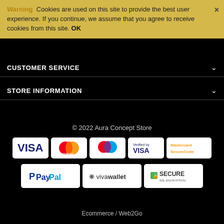Warning  Cookies are used on this site to provide the best user experience. If you continue, we assume that you agree to receive cookies from this site. OK
CUSTOMER SERVICE
STORE INFORMATION
© 2022 Aura Concept Store
[Figure (logo): Payment method logos: VISA, Mastercard, Maestro, Verified by VISA, Mastercard SecureCode, PayPal, Vivawallet, Secure SSL Encryption]
Ecommerce / Web2Go